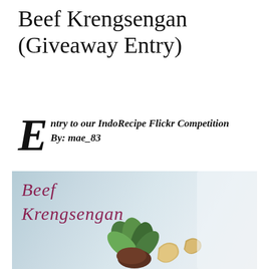Beef Krengsengan (Giveaway Entry)
Entry to our IndoRecipe Flickr Competition
By: mae_83
[Figure (photo): Food photo of Beef Krengsengan dish with script text 'Beef Krengsengan' overlaid, garnished with green herbs and chips on a light blue/white background]